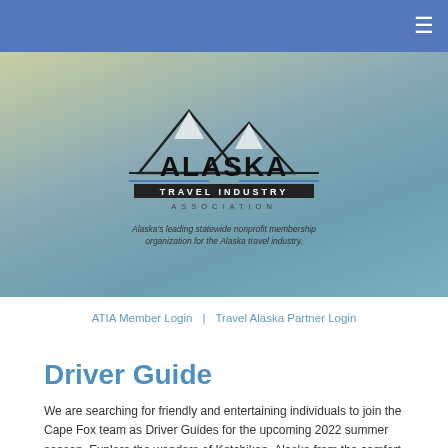≡
[Figure (logo): Alaska Travel Industry Association logo with mountain peaks illustration and tagline: Alaska's leading statewide nonprofit membership organization for the Alaska travel industry.]
ATIA Member Login  |  Travel Alaska Partner Login
Driver Guide
We are searching for friendly and entertaining individuals to join the Cape Fox team as Driver Guides for the upcoming 2022 summer season. Explore the wonders of Ketchikan, Alaska from the comfort of a 14-passenger Transit Van as you transfer cruise line guests to their